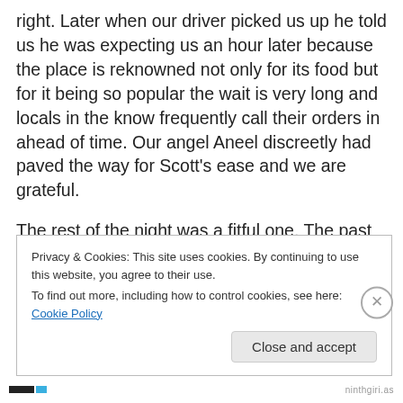right. Later when our driver picked us up he told us he was expecting us an hour later because the place is reknowned not only for its food but for it being so popular the wait is very long and locals in the know frequently call their orders in ahead of time. Our angel Aneel discreetly had paved the way for Scott's ease and we are grateful.
The rest of the night was a fitful one. The past few days we've been trying to get a handle on the diuretics that were prescribed for Scott's ascites problem and tweaking his pain meds so that he can have less fogginess. He
Privacy & Cookies: This site uses cookies. By continuing to use this website, you agree to their use.
To find out more, including how to control cookies, see here: Cookie Policy
ninthgiri.as